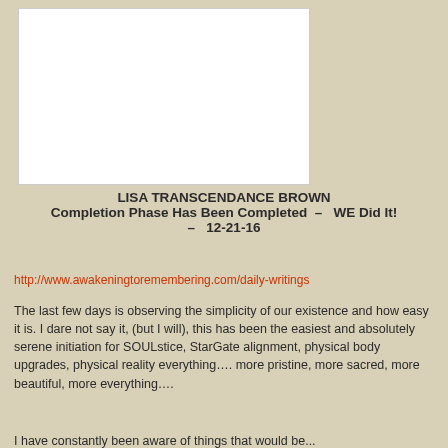[Figure (photo): White rectangular image placeholder at top left of page]
LISA TRANSCENDANCE BROWN
Completion Phase Has Been Completed – WE Did It! – 12-21-16
http://www.awakeningtoremembering.com/daily-writings
The last few days is observing the simplicity of our existence and how easy it is. I dare not say it, (but I will), this has been the easiest and absolutely serene initiation for SOULstice, StarGate alignment, physical body upgrades, physical reality everything…. more pristine, more sacred, more beautiful, more everything….
I have constantly been aware of things that would be...